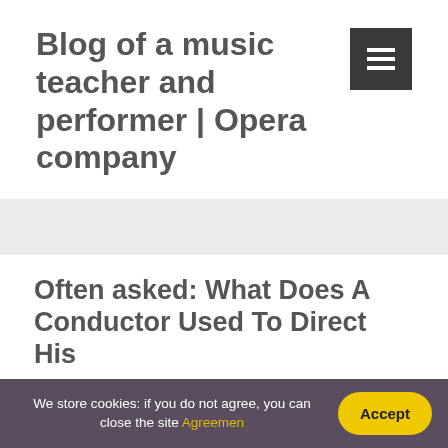Blog of a music teacher and performer | Opera company
Often asked: What Does A Conductor Used To Direct His
We store cookies: if you do not agree, you can close the site Agreemen